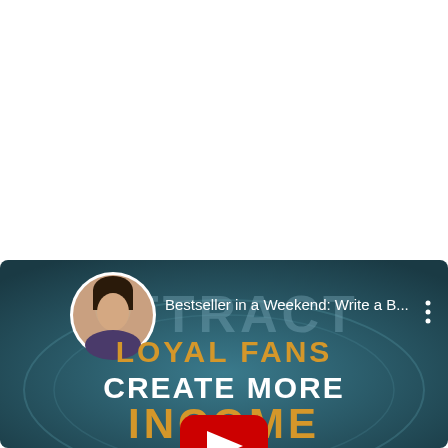[Figure (screenshot): Screenshot of a video thumbnail or app UI showing a woman's circular profile photo on the left, text 'Bestseller in a Weekend: Write a B...' in white, a three-dot menu icon on the right, and decorative text overlaid on a dark blue/teal background: 'ATTRACT' in large faded letters, 'LOYAL FANS' in gold/orange, 'CREATE MORE' in white bold, and 'INCOME' partially visible in gold/orange at the bottom with a red YouTube-style play button partially covering the letters.]